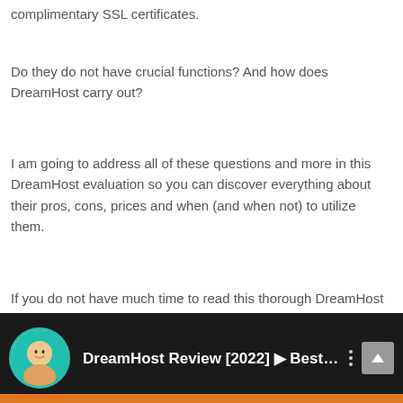complimentary SSL certificates.
Do they do not have crucial functions? And how does DreamHost carry out?
I am going to address all of these questions and more in this DreamHost evaluation so you can discover everything about their pros, cons, prices and when (and when not) to utilize them.
If you do not have much time to read this thorough DreamHost review, check out the video below:.
[Figure (screenshot): Video thumbnail bar showing a circular profile photo of a man against dark background with text 'DreamHost Review [2022] Best Web ...' and a vertical dots menu icon and scroll-to-top button, with orange bar at bottom.]